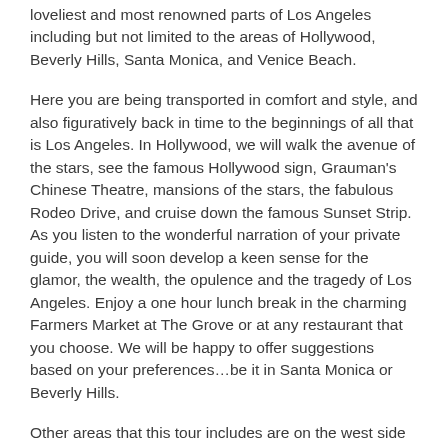loveliest and most renowned parts of Los Angeles including but not limited to the areas of Hollywood, Beverly Hills, Santa Monica, and Venice Beach.
Here you are being transported in comfort and style, and also figuratively back in time to the beginnings of all that is Los Angeles. In Hollywood, we will walk the avenue of the stars, see the famous Hollywood sign, Grauman's Chinese Theatre, mansions of the stars, the fabulous Rodeo Drive, and cruise down the famous Sunset Strip. As you listen to the wonderful narration of your private guide, you will soon develop a keen sense for the glamor, the wealth, the opulence and the tragedy of Los Angeles. Enjoy a one hour lunch break in the charming Farmers Market at The Grove or at any restaurant that you choose. We will be happy to offer suggestions based on your preferences…be it in Santa Monica or Beverly Hills.
Other areas that this tour includes are on the west side including sparkling Santa Monica and the eclectic Venice Beach. Los Angeles is sometimes described as all that California is and much of it is contained here in timeless preservation friendly, exciting, gorgeous natural beauty, and stunning architecture too. These attributes combine to create a feel and an atmosphere that defi...